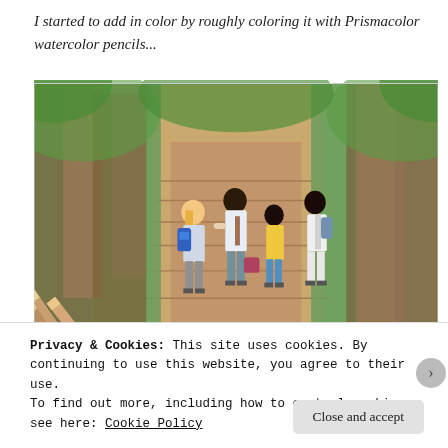I started to add in color by roughly coloring it with Prismacolor watercolor pencils...
[Figure (illustration): Watercolor pencil illustration of four girls walking away on a forest path with stone steps, with colored pencils resting in lower left corner. Lush green forest with large tree trunks on both sides. Girls have various hair colors and carry bags/backpacks.]
Privacy & Cookies: This site uses cookies. By continuing to use this website, you agree to their use.
To find out more, including how to control cookies, see here: Cookie Policy
Close and accept